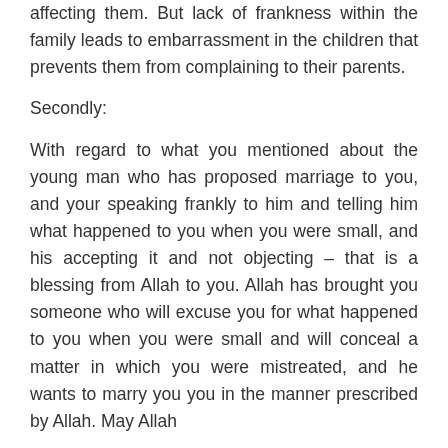affecting them. But lack of frankness within the family leads to embarrassment in the children that prevents them from complaining to their parents.
Secondly:
With regard to what you mentioned about the young man who has proposed marriage to you, and your speaking frankly to him and telling him what happened to you when you were small, and his accepting it and not objecting – that is a blessing from Allah to you. Allah has brought you someone who will excuse you for what happened to you when you were small and will conceal a matter in which you were mistreated, and he wants to marry you you in the manner prescribed by Allah. May Allah